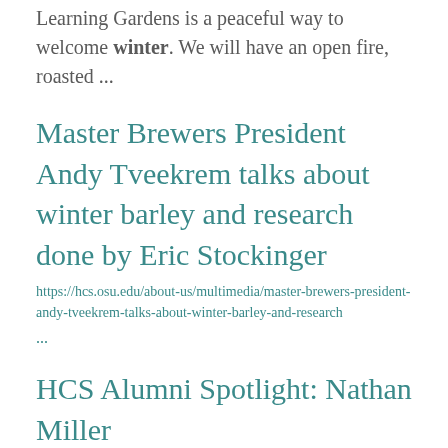Learning Gardens is a peaceful way to welcome winter. We will have an open fire, roasted ...
Master Brewers President Andy Tveekrem talks about winter barley and research done by Eric Stockinger
https://hcs.osu.edu/about-us/multimedia/master-brewers-president-andy-tveekrem-talks-about-winter-barley-and-research
...
HCS Alumni Spotlight: Nathan Miller